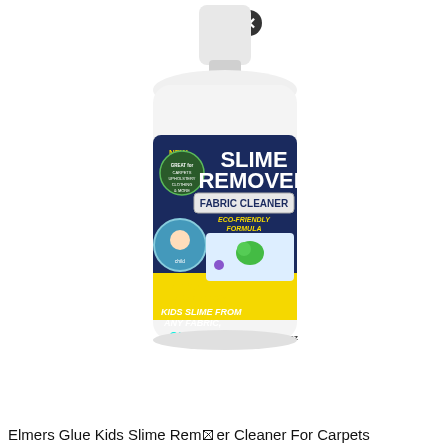[Figure (photo): A white spray bottle with label showing 'SLIME REMOVER Fabric Cleaner' with 'NEW', 'ECO-FRIENDLY FORMULA', 'EASILY REMOVES: KIDS SLIME FROM ANY FABRIC, GUARANTEED!' text on a dark blue and yellow label. There is a close button (X) icon near the top.]
Elmers Glue Kids Slime Remover Cleaner For Carpets